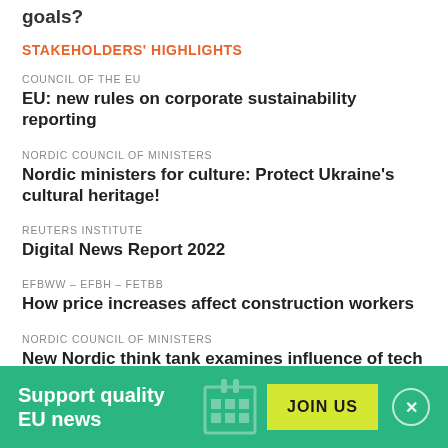goals?
STAKEHOLDERS' HIGHLIGHTS
COUNCIL OF THE EU
EU: new rules on corporate sustainability reporting
NORDIC COUNCIL OF MINISTERS
Nordic ministers for culture: Protect Ukraine's cultural heritage!
REUTERS INSTITUTE
Digital News Report 2022
EFBWW – EFBH – FETBB
How price increases affect construction workers
NORDIC COUNCIL OF MINISTERS
New Nordic think tank examines influence of tech giants
Support quality EU news